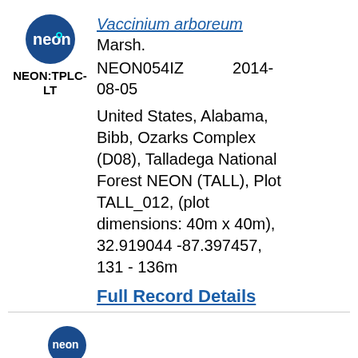[Figure (logo): NEON circular logo with dark blue background and 'neon' text in white]
NEON:TPLC-LT
Vaccinium arboreum
Marsh. NEON054IZ 2014-08-05 United States, Alabama, Bibb, Ozarks Complex (D08), Talladega National Forest NEON (TALL), Plot TALL_012, (plot dimensions: 40m x 40m), 32.919044 -87.397457, 131 - 136m
Full Record Details